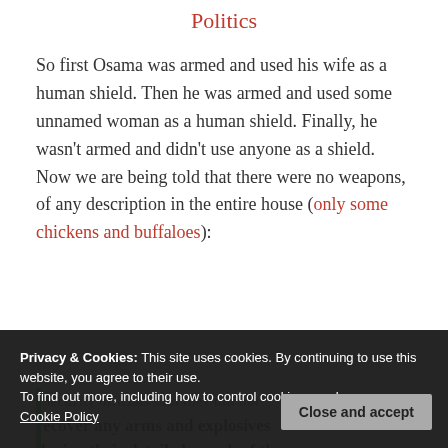Politics
So first Osama was armed and used his wife as a human shield. Then he was armed and used some unnamed woman as a human shield. Finally, he wasn't armed and didn't use anyone as a shield. Now we are being told that there were no weapons, of any description in the entire house (only some chickens and buffaloes):
Privacy & Cookies: This site uses cookies. By continuing to use this website, you agree to their use.
To find out more, including how to control cookies, see here:
Cookie Policy
"Security officials said they did not recover any arms and explosives during their detailed search of the compound and the 13-roomed house.